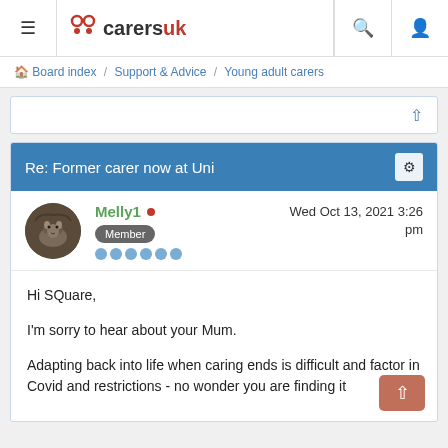carersuk — Board index / Support & Advice / Young adult carers
Re: Former carer now at Uni
Melly1 • Wed Oct 13, 2021 3:26 pm — Member
Hi SQuare,

I'm sorry to hear about your Mum.

Adapting back into life when caring ends is difficult and factor in Covid and restrictions - no wonder you are finding it